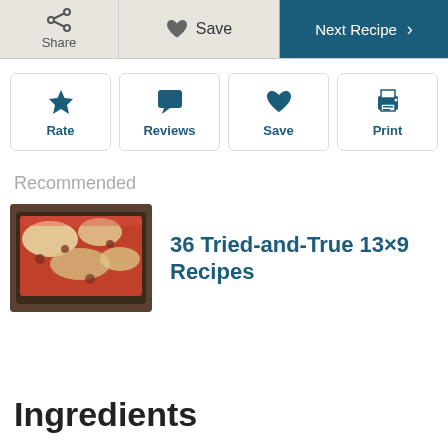[Figure (screenshot): Top navigation bar with Share, Save, and Next Recipe buttons]
[Figure (screenshot): Action buttons row: Rate (star icon), Reviews (chat icon), Save (heart icon), Print (printer icon)]
Recommended
[Figure (photo): Photo of a lasagna or casserole dish with meat sauce and cheese in a 13x9 baking pan]
36 Tried-and-True 13×9 Recipes
Ingredients